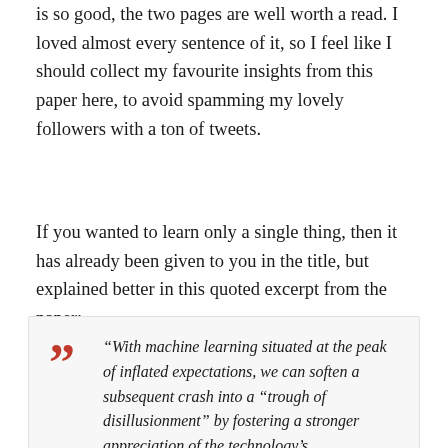is so good, the two pages are well worth a read. I loved almost every sentence of it, so I feel like I should collect my favourite insights from this paper here, to avoid spamming my lovely followers with a ton of tweets.
If you wanted to learn only a single thing, then it has already been given to you in the title, but explained better in this quoted excerpt from the paper:
“With machine learning situated at the peak of inflated expectations, we can soften a subsequent crash into a “trough of disillusionment” by fostering a stronger appreciation of the technology’s